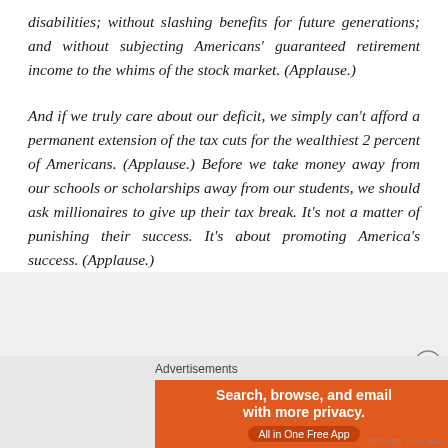disabilities; without slashing benefits for future generations; and without subjecting Americans' guaranteed retirement income to the whims of the stock market. (Applause.)
And if we truly care about our deficit, we simply can't afford a permanent extension of the tax cuts for the wealthiest 2 percent of Americans. (Applause.) Before we take money away from our schools or scholarships away from our students, we should ask millionaires to give up their tax break. It's not a matter of punishing their success. It's about promoting America's success. (Applause.)
[Figure (other): DuckDuckGo advertisement banner: 'Search, browse, and email with more privacy. All in One Free App' with DuckDuckGo logo on dark background]